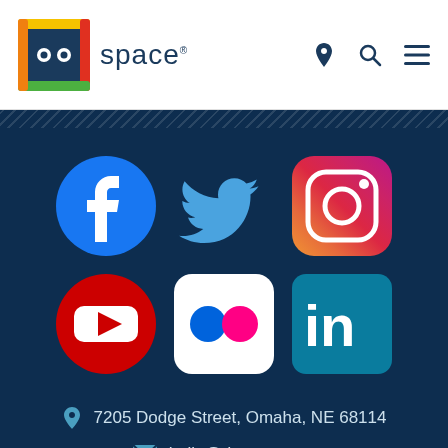[Figure (logo): do space logo — colorful square bracket icon with 'do space' text]
[Figure (infographic): Six social media icons in a 3x2 grid: Facebook, Twitter, Instagram (top row); YouTube, Flickr, LinkedIn (bottom row)]
7205 Dodge Street, Omaha, NE 68114
hello@dospace.org